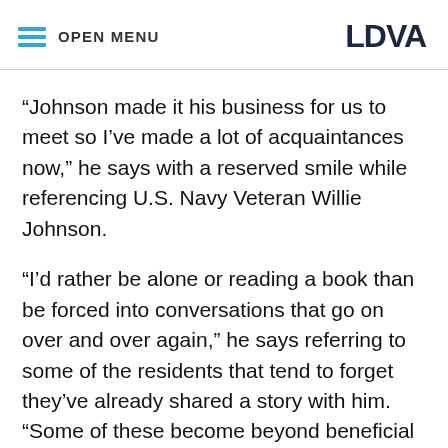OPEN MENU | LDVA
“Johnson made it his business for us to meet so I’ve made a lot of acquaintances now,” he says with a reserved smile while referencing U.S. Navy Veteran Willie Johnson.
“I’d rather be alone or reading a book than be forced into conversations that go on over and over again,” he says referring to some of the residents that tend to forget they’ve already shared a story with him. “Some of these become beyond beneficial conversations, that’s